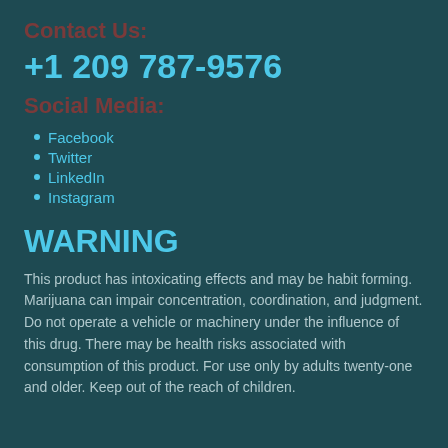Contact Us:
+1 209 787-9576
Social Media:
Facebook
Twitter
LinkedIn
Instagram
WARNING
This product has intoxicating effects and may be habit forming. Marijuana can impair concentration, coordination, and judgment. Do not operate a vehicle or machinery under the influence of this drug. There may be health risks associated with consumption of this product. For use only by adults twenty-one and older. Keep out of the reach of children.